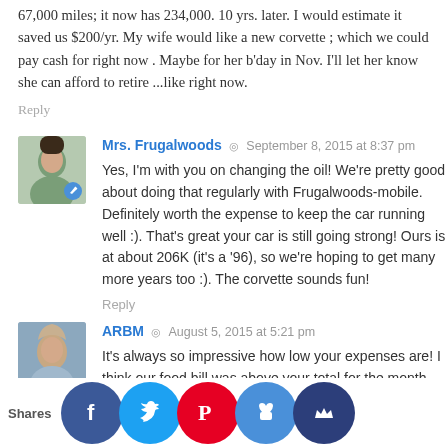started using this in a 93 Cadillac Fleetwood @ 67,000 miles; it now has 234,000. 10 yrs. later. I would estimate it saved us $200/yr. My wife would like a new corvette ; which we could pay cash for right now . Maybe for her b'day in Nov. I'll let her know she can afford to retire ...like right now.
Reply
Mrs. Frugalwoods · September 8, 2015 at 8:37 pm
Yes, I'm with you on changing the oil! We're pretty good about doing that regularly with Frugalwoods-mobile. Definitely worth the expense to keep the car running well :). That's great your car is still going strong! Ours is at about 206K (it's a '96), so we're hoping to get many more years too :). The corvette sounds fun!
Reply
ARBM · August 5, 2015 at 5:21 pm
It's always so impressive how low your expenses are! I think our food bill was above your total for the month.... lol! I think it might be time for attempt at an Uber Frugal month.... Aug w_ _k (we_ _t ma_ _ember_ where ca_ _n the corn_
Shares